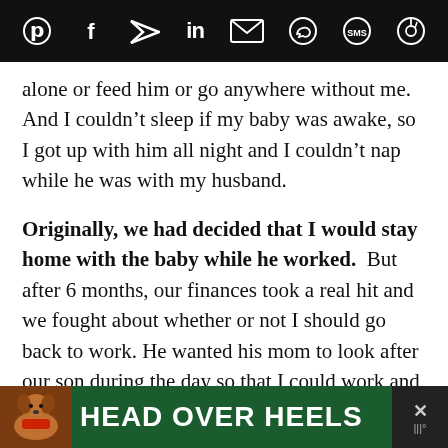Social sharing icons bar (Pinterest, Facebook, Twitter, LinkedIn, Email, WhatsApp, SMS, Share)
alone or feed him or go anywhere without me. And I couldn't sleep if my baby was awake, so I got up with him all night and I couldn't nap while he was with my husband.

Originally, we had decided that I would stay home with the baby while he worked. But after 6 months, our finances took a real hit and we fought about whether or not I should go back to work. He wanted his mom to look after our son during the day so that I could work and the thought of it made me sick to my stomach. But we had no choice, we ran the risk of losing our
[Figure (other): Advertisement banner with dog image and text HEAD OVER HEELS on green background]